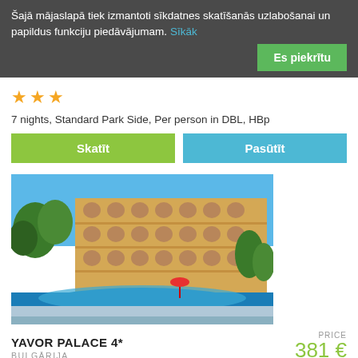Šajā mājaslapā tiek izmantoti sīkdatnes skatīšanās uzlabošanai un papildus funkciju piedāvājumam. Sīkāk
Es piekrītu
★★★
7 nights, Standard Park Side, Per person in DBL, HBp
Skatīt
Pasūtīt
[Figure (photo): Hotel with pool and multi-story yellow building with arched balconies, blue swimming pool in foreground, trees in background]
YAVOR PALACE 4*
BULGĀRIJA
PRICE 381 €